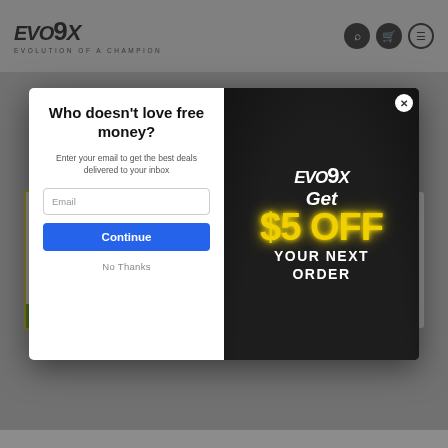[Figure (screenshot): Evo9X website header with logo and navigation icons (search, cart, menu)]
[Figure (screenshot): Background product images showing lacrosse shorts/pants thumbnails on gray background]
[Figure (infographic): Modal popup with email signup on the left (white panel) and $5 OFF promotion on the right (black panel with Evo9X branding and yellow text)]
Who doesn't love free money?
Enter your email to get the best deals delivered to your inbox
Email
Continue
No Thanks
Get $5 OFF YOUR NEXT ORDER